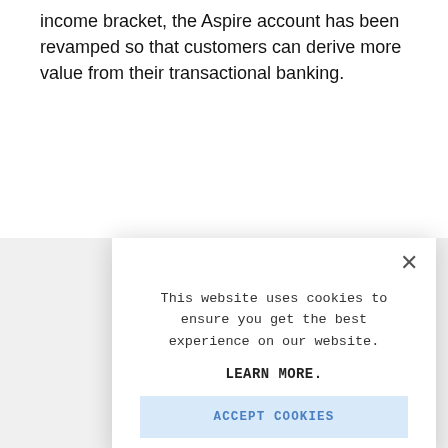income bracket, the Aspire account has been revamped so that customers can derive more value from their transactional banking.
[Figure (screenshot): Cookie consent modal dialog overlaying a webpage. The modal reads: 'This website uses cookies to ensure you get the best experience on our website. LEARN MORE.' with an 'ACCEPT COOKIES' button and an X close button. Behind the modal, partially visible page text starts with 'The' followed by fragments 'the', 'payi', 'unlir', 'purc', 'and'.]